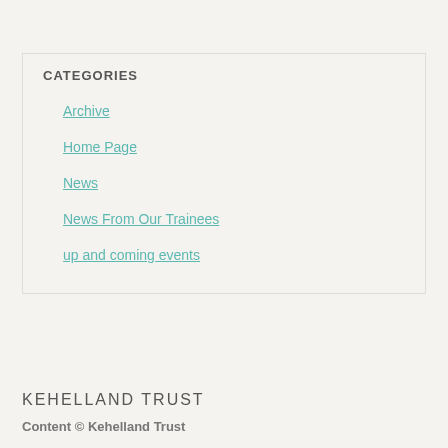CATEGORIES
Archive
Home Page
News
News From Our Trainees
up and coming events
KEHELLAND TRUST
Content © Kehelland Trust